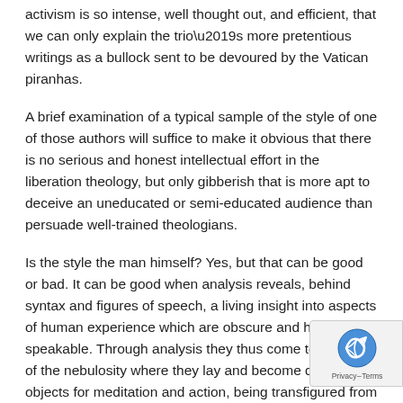activism is so intense, well thought out, and efficient, that we can only explain the trio's more pretentious writings as a bullock sent to be devoured by the Vatican piranhas.
A brief examination of a typical sample of the style of one of those authors will suffice to make it obvious that there is no serious and honest intellectual effort in the liberation theology, but only gibberish that is more apt to deceive an uneducated or semi-educated audience than persuade well-trained theologians.
Is the style the man himself? Yes, but that can be good or bad. It can be good when analysis reveals, behind syntax and figures of speech, a living insight into aspects of human experience which are obscure and hardly speakable. Through analysis they thus come to light out of the nebulosity where they lay and become docile objects for meditation and action, being transfigured from factors of slavery into instruments of freedom. It can be bad when there is nothing to be found underneath the verbal fabric except a perverse intention to build a “second reality” out of mere words, transporting the reader from the real world into a puppet show where